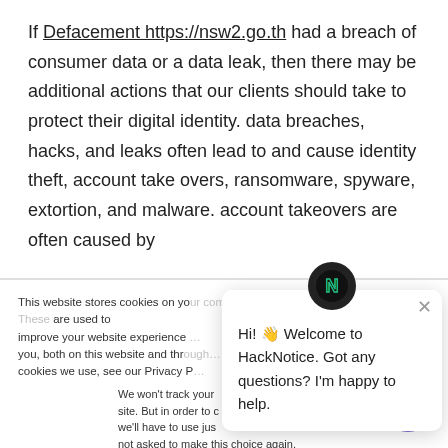If Defacement https://nsw2.go.th had a breach of consumer data or a data leak, then there may be additional actions that our clients should take to protect their digital identity. data breaches, hacks, and leaks often lead to and cause identity theft, account take overs, ransomware, spyware, extortion, and malware. account takeovers are often caused by
This website stores cookies on your computer. These are used to improve your website experience you, both on this website and through cookies we use, see our Privacy P...
We won't track your site. But in order to c we'll have to use jus not asked to make this choice again.
Hi! Welcome to HackNotice. Got any questions? I'm happy to help.